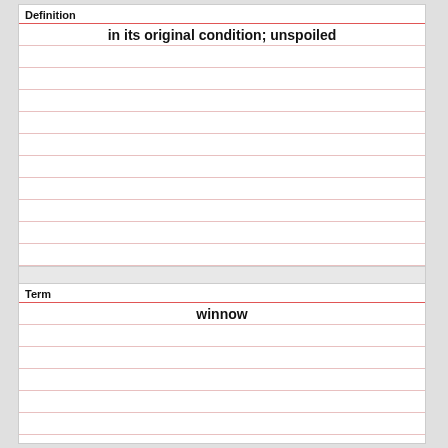Definition
in its original condition; unspoiled
Term
winnow